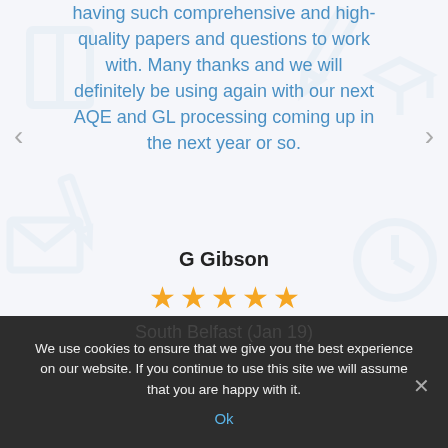having such comprehensive and high-quality papers and questions to work with. Many thanks and we will definitely be using again with our next AQE and GL processing coming up in the next year or so.
G Gibson
[Figure (other): Five gold star rating]
South Belfast (Jan 19)
We use cookies to ensure that we give you the best experience on our website. If you continue to use this site we will assume that you are happy with it.
Ok